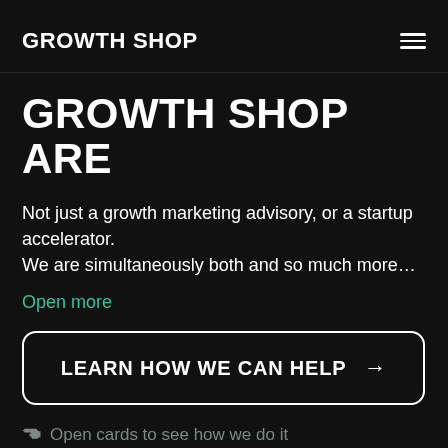GROWTH SHOP
GROWTH SHOP ARE
Not just a growth marketing advisory, or a startup accelerator.
We are simultaneously both and so much more…
Open more
LEARN HOW WE CAN HELP →
Open cards to see how we do it